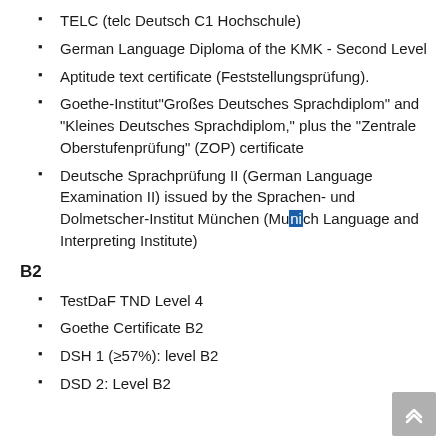TELC (telc Deutsch C1 Hochschule)
German Language Diploma of the KMK - Second Level
Aptitude text certificate (Feststellungsprüfung).
Goethe-Institut"Großes Deutsches Sprachdiplom" and "Kleines Deutsches Sprachdiplom," plus the "Zentrale Oberstufenprüfung" (ZOP) certificate
Deutsche Sprachprüfung II (German Language Examination II) issued by the Sprachen- und Dolmetscher-Institut München (Munich Language and Interpreting Institute)
B2
TestDaF TND Level 4
Goethe Certificate B2
DSH 1 (≥57%): level B2
DSD 2: Level B2